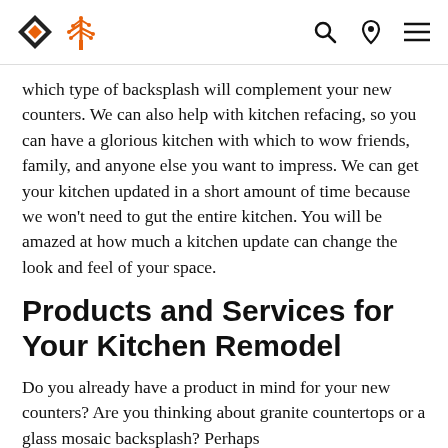[Logo and navigation icons: search, location, menu]
which type of backsplash will complement your new counters. We can also help with kitchen refacing, so you can have a glorious kitchen with which to wow friends, family, and anyone else you want to impress. We can get your kitchen updated in a short amount of time because we won't need to gut the entire kitchen. You will be amazed at how much a kitchen update can change the look and feel of your space.
Products and Services for Your Kitchen Remodel
Do you already have a product in mind for your new counters? Are you thinking about granite countertops or a glass mosaic backsplash? Perhaps